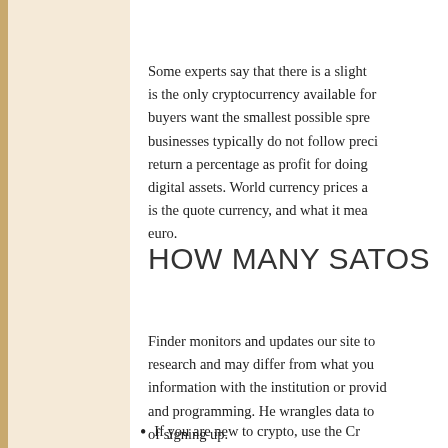Some experts say that there is a slight... is the only cryptocurrency available for... buyers want the smallest possible spre... businesses typically do not follow preci... return a percentage as profit for doing... digital assets. World currency prices a... is the quote currency, and what it mea... euro.
HOW MANY SATOS
Finder monitors and updates our site to... research and may differ from what you... information with the institution or provid... and programming. He wrangles data to... of signing up.
If you are new to crypto, use the Cr...